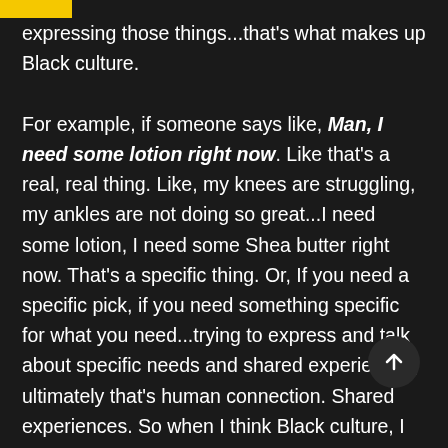expressing those things...that's what makes up Black culture.

For example, if someone says like, Man, I need some lotion right now. Like that's a real, real thing. Like, my knees are struggling, my ankles are not doing so great...I need some lotion, I need some Shea butter right now. That's a specific thing. Or, If you need a specific pick, if you need something specific for what you need...trying to express and talk about specific needs and shared experiences, ultimately that's human connection. Shared experiences. So when I think Black culture, I think...shared experiences, at the end of the day.